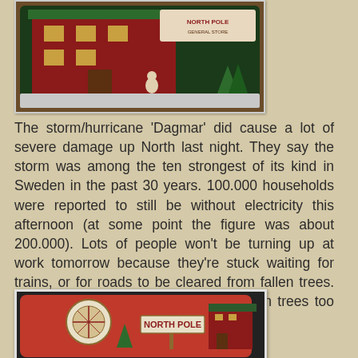[Figure (photo): Top portion of a decorative tin box showing a building scene with red and green colors, photographed on a brown surface.]
The storm/hurricane 'Dagmar' did cause a lot of severe damage up North last night. They say the storm was among the ten strongest of its kind in Sweden in the past 30 years. 100.000 households were reported to still be without electricity this afternoon (at some point the figure was about 200.000). Lots of people won't be turning up at work tomorrow because they're stuck waiting for trains, or for roads to be cleared from fallen trees. Buildings have been destroyed by fallen trees too but so far no deaths have been reported.
[Figure (photo): Bottom portion of a decorative tin box showing a North Pole sign and illustrated buildings with red and green holiday imagery.]